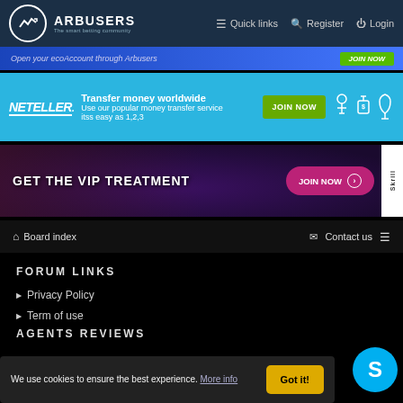ARBUSERS | Quick links | Register | Login
[Figure (screenshot): Blue banner: Open your ecoAccount through Arbusers with green JOIN NOW button]
[Figure (screenshot): Neteller banner: Transfer money worldwide. Use our popular money transfer service itss easy as 1,2,3. JOIN NOW button with user icons on cyan background]
[Figure (screenshot): Skrill dark VIP banner: GET THE VIP TREATMENT with pink JOIN NOW button and Skrill side tab]
Board index | Contact us
FORUM LINKS
Privacy Policy
Term of use
AGENTS REVIEWS
We use cookies to ensure the best experience. More info
Got it!